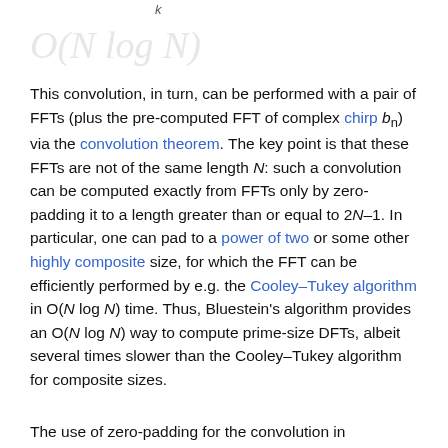[Figure (math-figure): Faded mathematical formula or equation display area at top of page]
This convolution, in turn, can be performed with a pair of FFTs (plus the pre-computed FFT of complex chirp b_n) via the convolution theorem. The key point is that these FFTs are not of the same length N: such a convolution can be computed exactly from FFTs only by zero-padding it to a length greater than or equal to 2N–1. In particular, one can pad to a power of two or some other highly composite size, for which the FFT can be efficiently performed by e.g. the Cooley–Tukey algorithm in O(N log N) time. Thus, Bluestein's algorithm provides an O(N log N) way to compute prime-size DFTs, albeit several times slower than the Cooley–Tukey algorithm for composite sizes.
The use of zero-padding for the convolution in Bluestein's